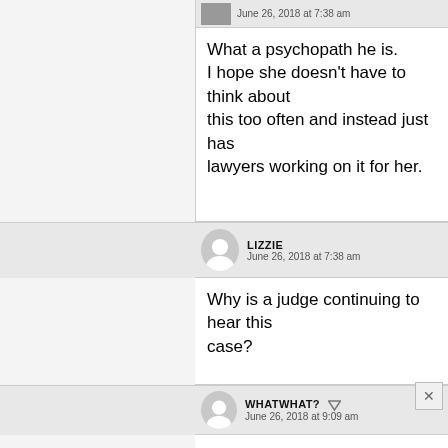June 26, 2018 at 7:38 am
What a psychopath he is.
I hope she doesn't have to think about this too often and instead just has lawyers working on it for her.
6. LIZZIE
June 26, 2018 at 7:38 am
Why is a judge continuing to hear this case?
WHATWHAT?
June 26, 2018 at 9:09 am
he and his (COMPLETELY UNETHICAL) lawyers keep re-filing in various states. LA being the latest.
HOLLY HOBBY
June 26, 2018 at 10:02 am
I don't understand why he can do that in